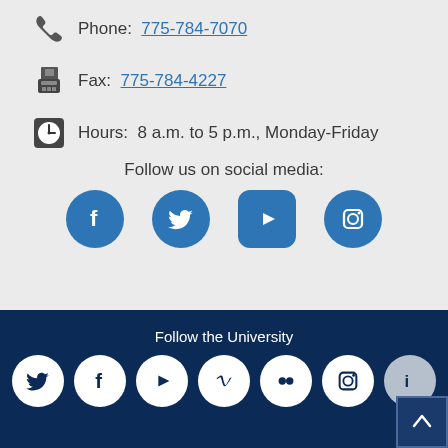Phone: 775-784-7070
Fax: 775-784-4227
Hours: 8 a.m. to 5 p.m., Monday-Friday
Follow us on social media:
[Figure (infographic): Four blue circular social media icons: Facebook, Twitter, YouTube, Instagram]
Follow the University
[Figure (infographic): Seven white circular social media icons on dark navy background: Twitter, Facebook, YouTube, Vimeo, Flickr, Instagram, and one partially visible. Back-to-top arrow button in bottom right corner.]